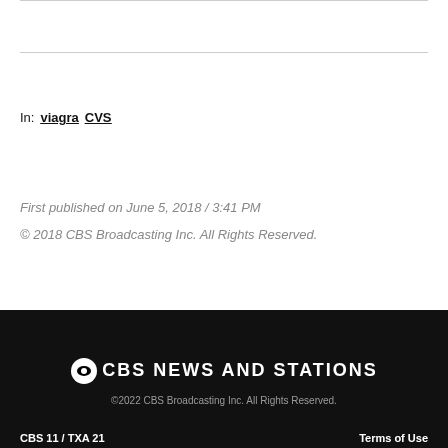In: viagra  CVS
First published on June 5, 2018 / 3:41 PM
© 2018 CBS Broadcasting Inc. All Rights Reserved.
©CBS NEWS AND STATIONS
©2022 CBS Broadcasting Inc. All Rights Reserved.
CBS 11 / TXA 21    Terms of Use